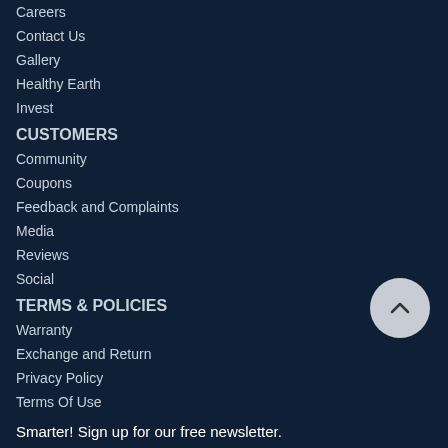Careers
Contact Us
Gallery
Healthy Earth
Invest
CUSTOMERS
Community
Coupons
Feedback and Complaints
Media
Reviews
Social
TERMS & POLICIES
Warranty
Exchange and Return
Privacy Policy
Terms Of Use
Smarter! Sign up for our free newsletter.